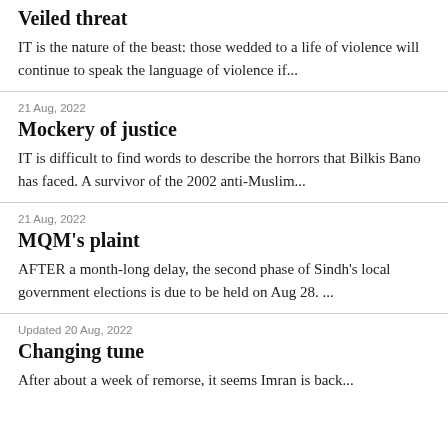Veiled threat
IT is the nature of the beast: those wedded to a life of violence will continue to speak the language of violence if...
21 Aug, 2022
Mockery of justice
IT is difficult to find words to describe the horrors that Bilkis Bano has faced. A survivor of the 2002 anti-Muslim...
21 Aug, 2022
MQM's plaint
AFTER a month-long delay, the second phase of Sindh's local government elections is due to be held on Aug 28. ...
Updated 20 Aug, 2022
Changing tune
After about a week of remorse, it seems Imran is back...